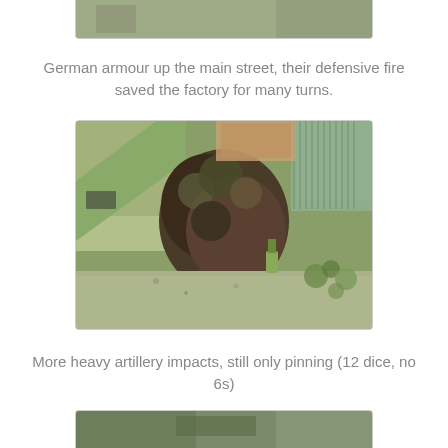[Figure (photo): Top portion of a wargaming miniature scene showing a street with buildings, partially cropped at top of page]
German armour up the main street, their defensive fire saved the factory for many turns.
[Figure (photo): A wargaming miniature diorama showing ruined buildings, rubble, trees/foliage, and miniature figures on a green terrain base]
More heavy artillery impacts, still only pinning (12 dice, no 6s)
[Figure (photo): Bottom portion of another wargaming miniature scene, partially cropped, showing ruined structures and foliage]